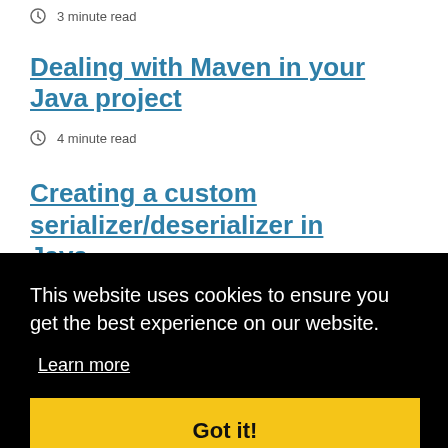3 minute read
Dealing with Maven in your Java project
4 minute read
Creating a custom serializer/deserializer in Java
3 minute read
This website uses cookies to ensure you get the best experience on our website.
Learn more
Got it!
to the because you have...